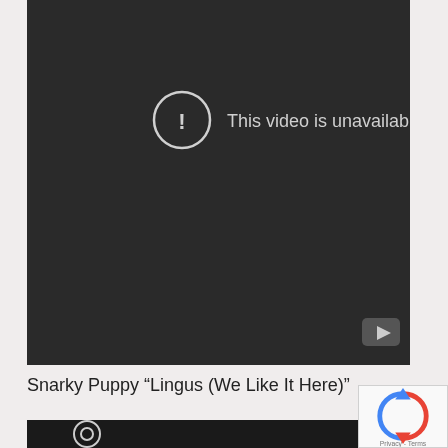[Figure (screenshot): YouTube video embed showing 'This video is unavailable' error message with exclamation mark icon in a circle on a dark background, with YouTube logo button in bottom right corner.]
Snarky Puppy “Lingus (We Like It Here)”
[Figure (screenshot): Partial view of another video embed showing a circular logo/icon at the bottom of the page.]
[Figure (screenshot): reCAPTCHA widget partially visible in bottom right corner with 'Privacy - Terms' text.]